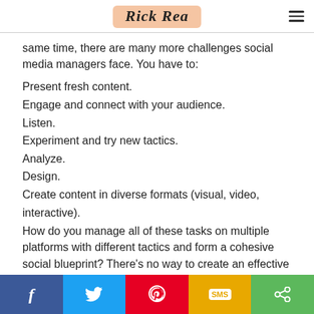Rick Rea
same time, there are many more challenges social media managers face. You have to:
Present fresh content.
Engage and connect with your audience.
Listen.
Experiment and try new tactics.
Analyze.
Design.
Create content in diverse formats (visual, video, interactive).
How do you manage all of these tasks on multiple platforms with different tactics and form a cohesive social blueprint? There's no way to create an effective